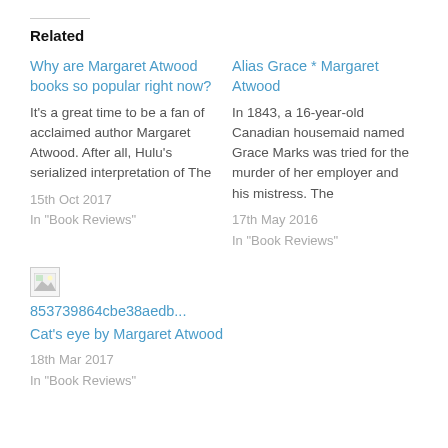Related
Why are Margaret Atwood books so popular right now?
It's a great time to be a fan of acclaimed author Margaret Atwood. After all, Hulu's serialized interpretation of The
15th Oct 2017
In "Book Reviews"
Alias Grace * Margaret Atwood
In 1843, a 16-year-old Canadian housemaid named Grace Marks was tried for the murder of her employer and his mistress. The
17th May 2016
In "Book Reviews"
[Figure (photo): Small broken/placeholder image thumbnail]
853739864cbe38aedb...
Cat's eye by Margaret Atwood
18th Mar 2017
In "Book Reviews"